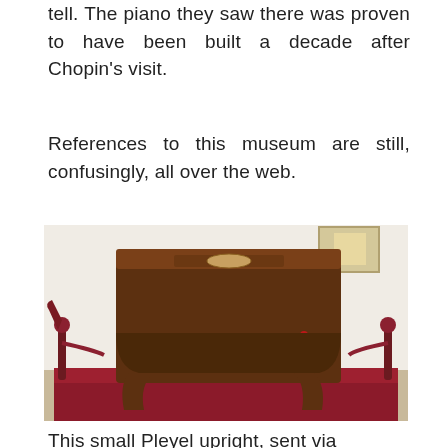tell. The piano they saw there was proven to have been built a decade after Chopin's visit.
References to this museum are still, confusingly, all over the web.
[Figure (photo): A small upright Pleyel piano with walnut wood casing, ivory and ebony keys, ornate curved legs, displayed on a red velvet platform with red rope barriers on either side. The piano sits in a white-walled room with a light tiled floor.]
This small Pleyel upright, sent via